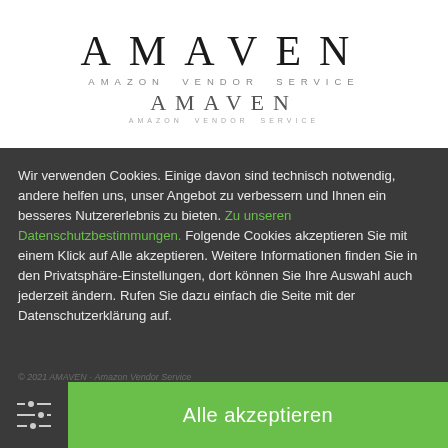[Figure (logo): AMAVEN Amazon Vendor Service logo, shown in two sizes stacked vertically]
Wir verwenden Cookies. Einige davon sind technisch notwendig, andere helfen uns, unser Angebot zu verbessern und Ihnen ein besseres Nutzererlebnis zu bieten. Zu unseren Datenschutzbestimmungen. Folgende Cookies akzeptieren Sie mit einem Klick auf Alle akzeptieren. Weitere Informationen finden Sie in den Privatsphäre-Einstellungen, dort können Sie Ihre Auswahl auch jederzeit ändern. Rufen Sie dazu einfach die Seite mit der Datenschutzerklärung auf.
© 2021 AMAVEN - Amazon Vendor Service
Alle akzeptieren